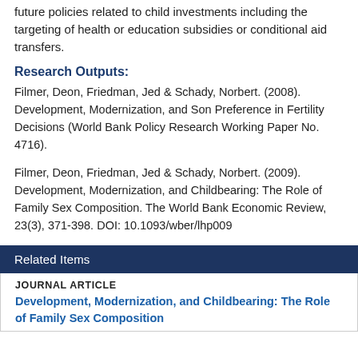future policies related to child investments including the targeting of health or education subsidies or conditional aid transfers.
Research Outputs:
Filmer, Deon, Friedman, Jed & Schady, Norbert. (2008). Development, Modernization, and Son Preference in Fertility Decisions (World Bank Policy Research Working Paper No. 4716).
Filmer, Deon, Friedman, Jed & Schady, Norbert. (2009). Development, Modernization, and Childbearing: The Role of Family Sex Composition. The World Bank Economic Review, 23(3), 371-398. DOI: 10.1093/wber/lhp009
Related Items
JOURNAL ARTICLE
Development, Modernization, and Childbearing: The Role of Family Sex Composition